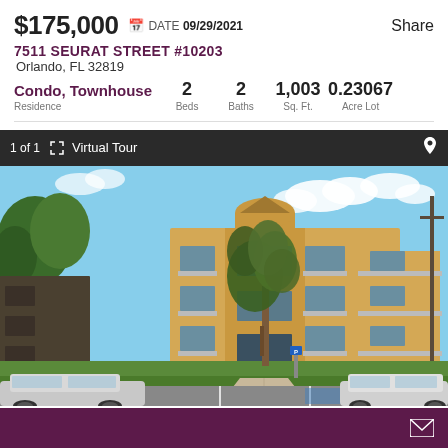$175,000  DATE 09/29/2021
Share
7511 SEURAT STREET #10203
Orlando, FL 32819
Condo, Townhouse  Residence   2 Beds   2 Baths   1,003 Sq. Ft.   0.23067 Acre Lot
1 of 1  Virtual Tour
[Figure (photo): Exterior photo of a 3-story tan/beige apartment condominium building with balconies, a large tree in front, green lawn, and parking lot with several cars including white sedans. Blue sky with clouds visible above.]